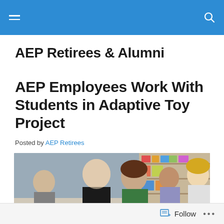AEP Retirees & Alumni — navigation bar
AEP Retirees & Alumni
AEP Employees Work With Students in Adaptive Toy Project
Posted by AEP Retirees
[Figure (photo): Several people including employees and students gathered around a table in what appears to be a classroom or workshop setting, working on a project together. Shelves with items visible in background.]
Follow